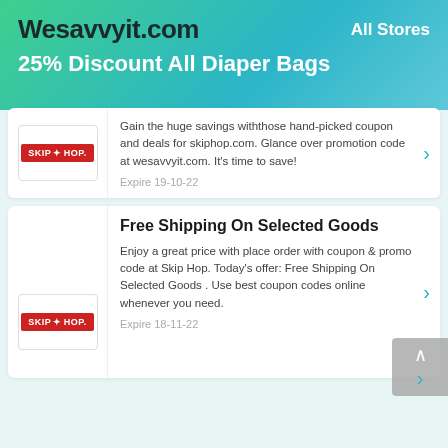Wesavvyit.com — All Stores
25% Discount All Diaper Bags
[Figure (logo): Skip Hop brand logo — white text on red background]
Gain the huge savings withthose hand-picked coupon and deals for skiphop.com. Glance over promotion code at wesavvyit.com. It's time to save!
Expire 19-10-22
Free Shipping On Selected Goods
[Figure (logo): Skip Hop brand logo — white text on red background]
Enjoy a great price with place order with coupon & promo code at Skip Hop. Today's offer: Free Shipping On Selected Goods . Use best coupon codes online whenever you need.
Expire 18-11-22